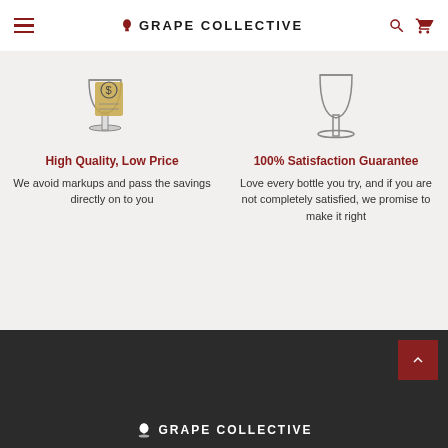GRAPE COLLECTIVE
[Figure (illustration): Wine glass with price tag illustration]
High Quality, Low Price
We avoid markups and pass the savings directly on to you
[Figure (illustration): Wine glass illustration]
100% Satisfaction Guarantee
Love every bottle you try, and if you are not completely satisfied, we promise to make it right
GRAPE COLLECTIVE